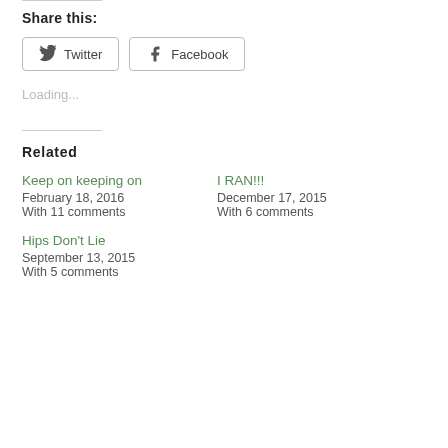Share this:
Twitter  Facebook
Loading...
Related
Keep on keeping on
February 18, 2016
With 11 comments
I RAN!!!
December 17, 2015
With 6 comments
Hips Don't Lie
September 13, 2015
With 5 comments